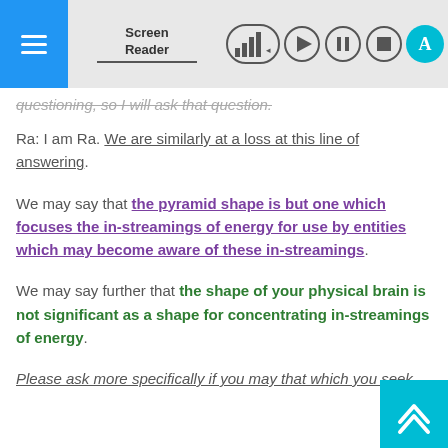Screen Reader toolbar with hamburger menu, signal bars, play, pause, stop, and A buttons
questioning, so I will ask that question.
Ra: I am Ra. We are similarly at a loss at this line of answering.
We may say that the pyramid shape is but one which focuses the in-streamings of energy for use by entities which may become aware of these in-streamings.
We may say further that the shape of your physical brain is not significant as a shape for concentrating in-streamings of energy.
Please ask more specifically if you may that which you seek.